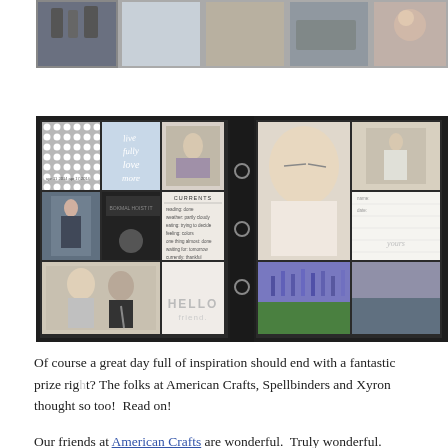[Figure (photo): A horizontal photo strip showing multiple photos displayed on a shelf or ledge, partially cropped at top of page.]
[Figure (photo): A scrapbook/photo album open showing a grid of photo cards and decorative cards with photos of people, patterns, text cards, and nature images. A binder spine with rings is visible in the center.]
Of course a great day full of inspiration should end with a fantastic prize right? The folks at American Crafts, Spellbinders and Xyron thought so too!  Read on!
Our friends at American Crafts are wonderful.  Truly wonderful.  When we to